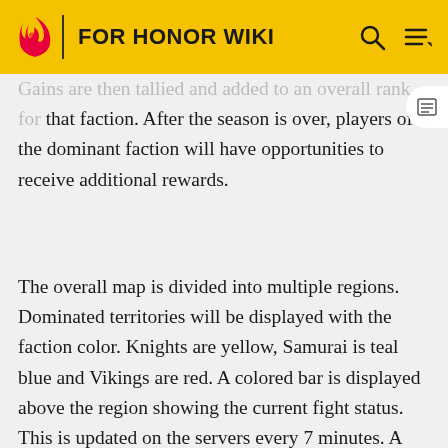FOR HONOR WIKI
Gains are then tallied and added to an overall rank for that faction. After the season is over, players of the dominant faction will have opportunities to receive additional rewards.
The overall map is divided into multiple regions. Dominated territories will be displayed with the faction color. Knights are yellow, Samurai is teal blue and Vikings are red. A colored bar is displayed above the region showing the current fight status. This is updated on the servers every 7 minutes. A wider bar color shows the faction currently dominant over the faction(s) with the smaller bar. Crossed swords above the bar represent the region as currently contested.